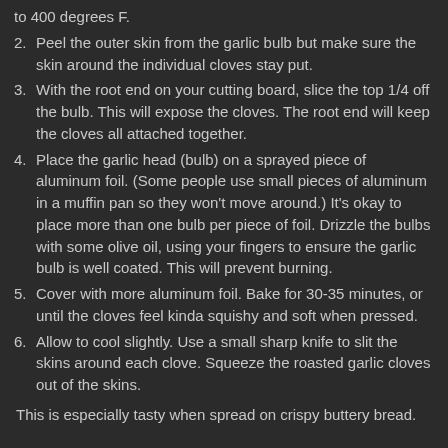to 400 degrees F.
2. Peel the outer skin from the garlic bulb but make sure the skin around the individual cloves stay put.
3. With the root end on your cutting board, slice the top 1/4 off the bulb. This will expose the cloves. The root end will keep the cloves all attached together.
4. Place the garlic head (bulb) on a sprayed piece of aluminum foil. (Some people use small pieces of aluminum in a muffin pan so they won't move around.) It's okay to place more than one bulb per piece of foil. Drizzle the bulbs with some olive oil, using your fingers to ensure the garlic bulb is well coated. This will prevent burning.
5. Cover with more aluminum foil. Bake for 30-35 minutes, or until the cloves feel kinda squishy and soft when pressed.
6. Allow to cool slightly. Use a small sharp knife to slit the skins around each clove. Squeeze the roasted garlic cloves out of the skins.
This is especially tasty when spread on crispy buttery bread.